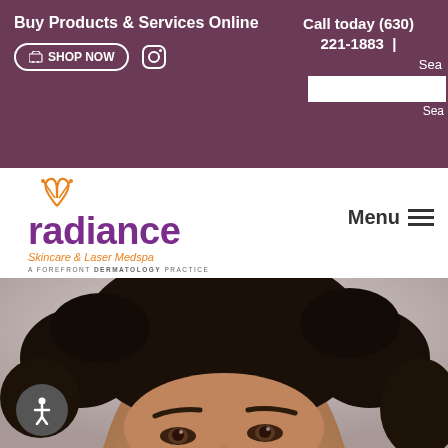Buy Products & Services Online
SHOP NOW
Call today (630) 221-1883 | Sea
[Figure (logo): Radiance Skincare & Laser Medspa logo with butterfly/leaf icon in orange, text 'radiance' in purple, tagline 'Skincare & Laser Medspa' in orange italic, and 'A FOREFRONT DERMATOLOGY PRACTICE' in small gray text]
Menu
[Figure (photo): Close-up photo of a young woman with dark curly hair looking slightly upward, with a gray background. Only the top of her face including forehead and eyes is visible. Photo is cropped at the bottom.]